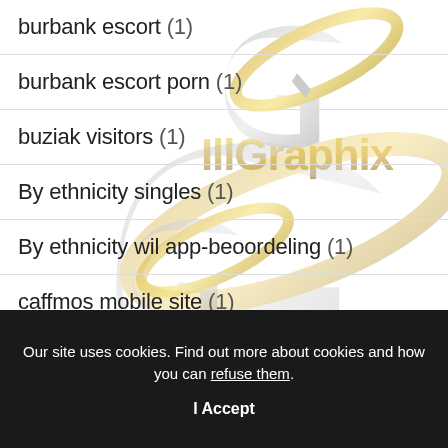burbank escort (1)
burbank escort porn (1)
buziak visitors (1)
By ethnicity singles (1)
By ethnicity wil app-beoordeling (1)
caffmos mobile site (1)
[Figure (logo): IllGraphix watermark logos repeated across page background — gold and silver stylized logo with 'IllGraphix' text]
Our site uses cookies. Find out more about cookies and how you can refuse them.
I Accept